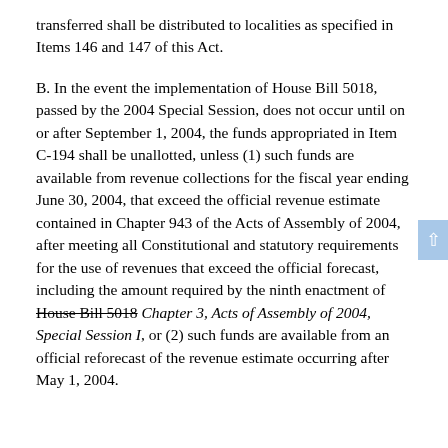transferred shall be distributed to localities as specified in Items 146 and 147 of this Act.
B. In the event the implementation of House Bill 5018, passed by the 2004 Special Session, does not occur until on or after September 1, 2004, the funds appropriated in Item C-194 shall be unallotted, unless (1) such funds are available from revenue collections for the fiscal year ending June 30, 2004, that exceed the official revenue estimate contained in Chapter 943 of the Acts of Assembly of 2004, after meeting all Constitutional and statutory requirements for the use of revenues that exceed the official forecast, including the amount required by the ninth enactment of House Bill 5018 Chapter 3, Acts of Assembly of 2004, Special Session I, or (2) such funds are available from an official reforecast of the revenue estimate occurring after May 1, 2004.